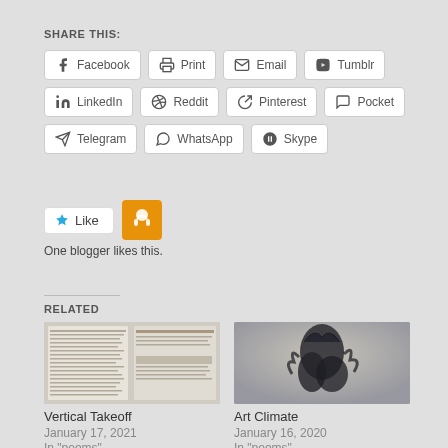SHARE THIS:
Facebook  Print  Email  Tumblr  LinkedIn  Reddit  Pinterest  Pocket  Telegram  WhatsApp  Skype
Like  One blogger likes this.
RELATED
[Figure (photo): Thumbnail of a newspaper clipping for 'Vertical Takeoff']
Vertical Takeoff
January 17, 2021
In "poems"
[Figure (photo): Thumbnail of an art photo for 'Art Climate' showing dark sculptural fabric form]
Art Climate
January 16, 2020
In "poems"